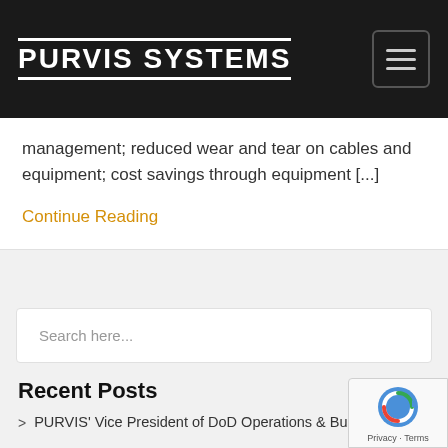PURVIS SYSTEMS
management; reduced wear and tear on cables and equipment; cost savings through equipment [...]
Continue Reading
Search here...
Recent Posts
PURVIS' Vice President of DoD Operations & Business